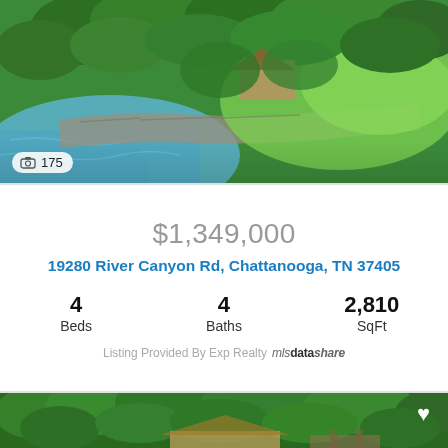[Figure (photo): Aerial view of lakefront property with green trees, stone retaining wall along water edge, and house visible among trees. Water visible in lower left. Photo counter badge showing camera icon and 175.]
📷 175
$1,349,000
19280 River Canyon Rd, Chattanooga, TN 37405
4 Beds   4 Baths   2,810 SqFt
Listing Provided By Exp Realty  mlsdatashare
[Figure (photo): Aerial view of wooded hillside property with house and dock structures visible among dense green trees. Heart icon in upper right corner.]